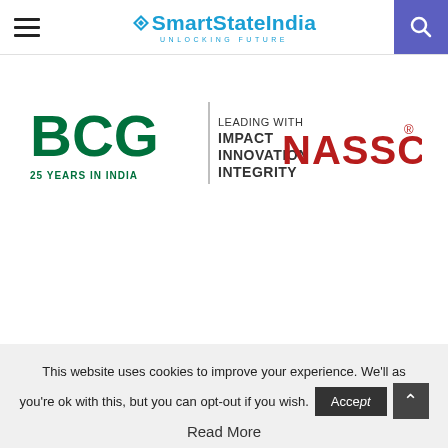SmartStateIndia UNLOCKING FUTURE
[Figure (logo): BCG logo with '25 YEARS IN INDIA' and 'LEADING WITH IMPACT INNOVATION INTEGRITY' tagline, alongside NASSCOM® logo in red]
The disruption caused by the pandemic has graduated from the recent sudden shift to fully remote work, to now
This website uses cookies to improve your experience. We'll as you're ok with this, but you can opt-out if you wish.
Read More